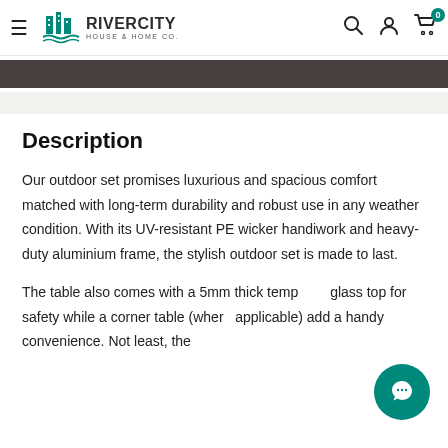RIVERCITY HOUSE & HOME CO. navigation header with logo, search, account, and cart icons
[Figure (other): Dark brown banner strip, partially visible promotional banner]
Description
Our outdoor set promises luxurious and spacious comfort matched with long-term durability and robust use in any weather condition. With its UV-resistant PE wicker handiwork and heavy-duty aluminium frame, the stylish outdoor set is made to last.
The table also comes with a 5mm thick tempered glass top for safety while a corner table (where applicable) add a handy convenience. Not least, the